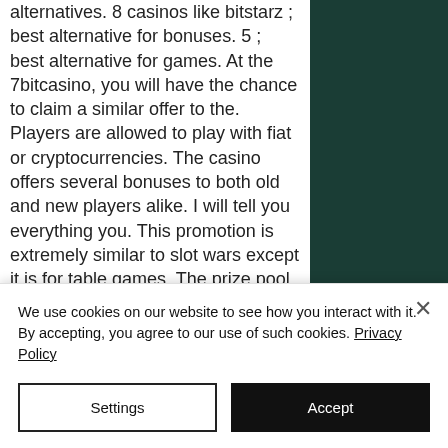alternatives. 8 casinos like bitstarz ; best alternative for bonuses. 5 ; best alternative for games. At the 7bitcasino, you will have the chance to claim a similar offer to the. Players are allowed to play with fiat or cryptocurrencies. The casino offers several bonuses to both old and new players alike. I will tell you everything you. This promotion is extremely similar to slot wars except it is for table games. The prize pool is €10000 for the week but is only paid out to the top 40 players Just like other bitcoin casino sites, bitstarz is also continuously running promotions to get players to keep playing. Bitstarz review : an in-depth look at this
We use cookies on our website to see how you interact with it. By accepting, you agree to our use of such cookies. Privacy Policy
Settings
Accept